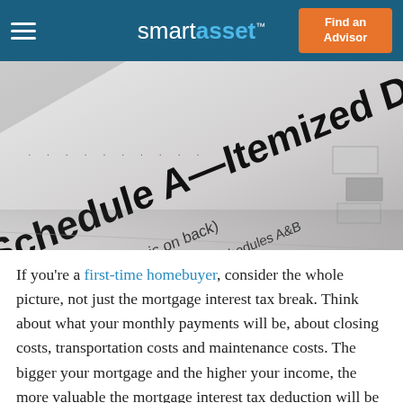smartasset™  Find an Advisor
[Figure (photo): Close-up photograph of IRS Schedule A—Itemized Deductions tax form, showing the title 'Schedule A—Itemized Deductions', subtitle '(Schedule B is on back)', and 'See Instructions for Schedules A&B', in black and white perspective view]
If you're a first-time homebuyer, consider the whole picture, not just the mortgage interest tax break. Think about what your monthly payments will be, about closing costs, transportation costs and maintenance costs. The bigger your mortgage and the higher your income, the more valuable the mortgage interest tax deduction will be to you. That's not to say that you should buy the most lavish house you can finance though. It's important to learn from the past and not